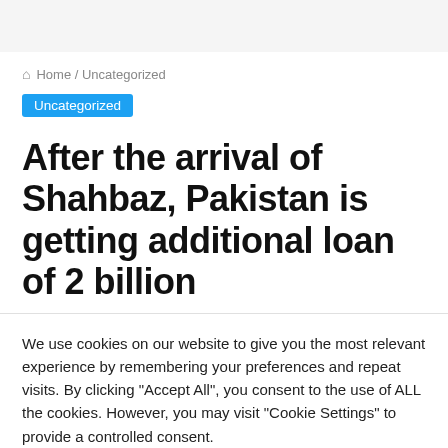Home / Uncategorized
Uncategorized
After the arrival of Shahbaz, Pakistan is getting additional loan of 2 billion
We use cookies on our website to give you the most relevant experience by remembering your preferences and repeat visits. By clicking "Accept All", you consent to the use of ALL the cookies. However, you may visit "Cookie Settings" to provide a controlled consent.